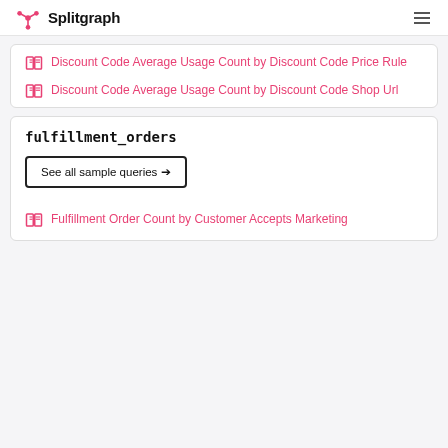Splitgraph
Discount Code Average Usage Count by Discount Code Price Rule
Discount Code Average Usage Count by Discount Code Shop Url
fulfillment_orders
See all sample queries →
Fulfillment Order Count by Customer Accepts Marketing